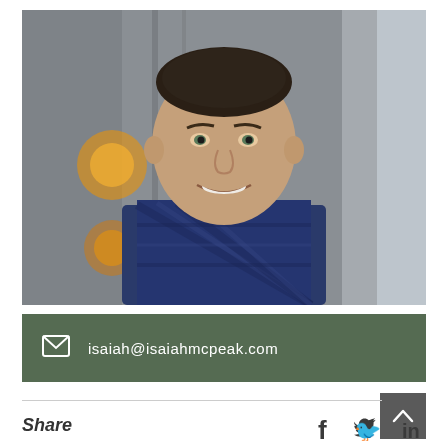[Figure (photo): Professional headshot of a smiling man with short dark hair, wearing a blue plaid button-up shirt, photographed in an indoor corridor with blurred background lighting.]
isaiah@isaiahmcpeak.com
Share